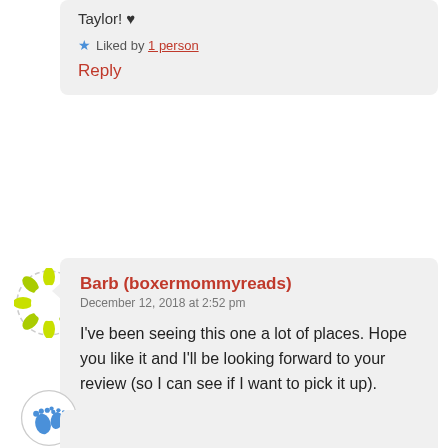Taylor! ♥
★ Liked by 1 person
Reply
[Figure (illustration): Circular avatar with yellow-green leaf/arrow pattern on white background, dashed circular border]
Barb (boxermommyreads)
December 12, 2018 at 2:52 pm

I've been seeing this one a lot of places. Hope you like it and I'll be looking forward to your review (so I can see if I want to pick it up).

★ Liked by 1 person

Reply
[Figure (illustration): Partial blue baby footprints icon at bottom left]